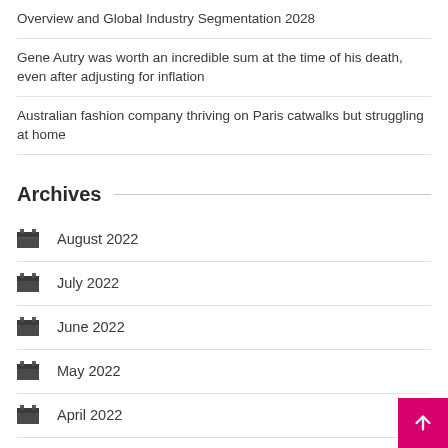Overview and Global Industry Segmentation 2028
Gene Autry was worth an incredible sum at the time of his death, even after adjusting for inflation
Australian fashion company thriving on Paris catwalks but struggling at home
Archives
August 2022
July 2022
June 2022
May 2022
April 2022
March 2022